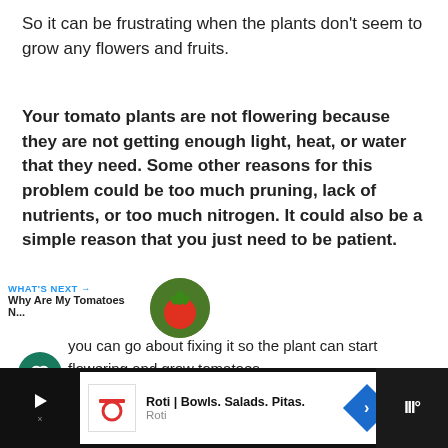So it can be frustrating when the plants don't seem to grow any flowers and fruits.
Your tomato plants are not flowering because they are not getting enough light, heat, or water that they need. Some other reasons for this problem could be too much pruning, lack of nutrients, or too much nitrogen. It could also be a simple reason that you just need to be patient.
now your pain and have written down all the details to help you understand the problem. Once you know you can go about fixing it so the plant can start flowering and grow tomatoes.
[Figure (screenshot): Advertisement bar at bottom showing Roti | Bowls. Salads. Pitas. ad with logo, navigation arrow, and media controls]
WHAT'S NEXT → Why Are My Tomatoes N...